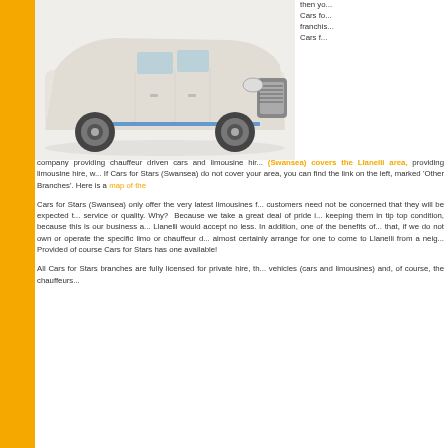[Figure (photo): White stretch limousine (Chrysler 300) photographed from the front-left angle against a white background]
then yo... Cars fo... franchis... Cars f... company providing chauffeur driven cars and limousine hir...
(Swansea) covers the Llanelli area, providing limousine hire, w... If Cars for Stars (Swansea) do not cover your area, you can find the link on the left, marked 'Other Branches'. Here is a map of the...
Cars for Stars (Swansea) only offer the very latest limousines f... customers need not be concerned that they will be expected t... service or quality. Why? Because we take a great deal of pride i... keeping them in tip top condition, because this is our business a... Llanelli would accept no less. In addition, one of the benefits of that, if we do not own or operate the specific limo or chauffeur d... almost certainly arrange for one to come to Llanelli from a neig... Provided of course Cars for Stars has one available!
All Cars for Stars branches are fully licensed for private hire, th... vehicles (cars and limousines) and, of course, the chauffeurs...